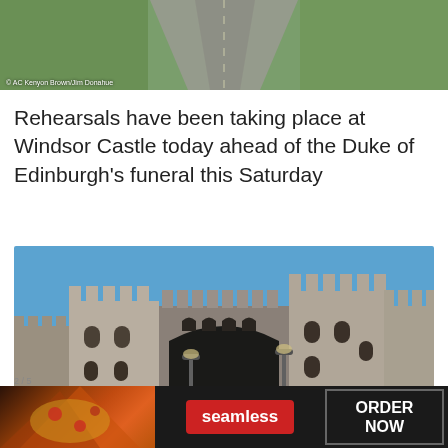[Figure (photo): Aerial view of Windsor Castle grounds showing pathway/road lined with green lawns from above]
© AC Kenyon Brown/Jim Donahue
Rehearsals have been taking place at Windsor Castle today ahead of the Duke of Edinburgh's funeral this Saturday
[Figure (photo): Windsor Castle gatehouse with stone battlements and towers under blue sky. Groups of people dressed in black ceremonial robes stand at the entrance gate. A CLOSE button overlay appears in bottom right.]
[Figure (photo): Seamless food delivery advertisement showing pizza with ORDER NOW button]